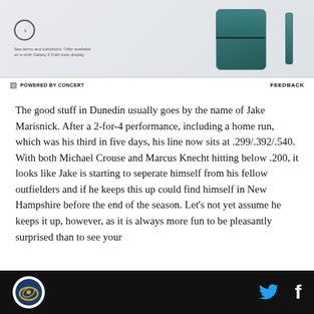[Figure (other): Advertisement banner for Samsung Galaxy Z Fold with phone image showing folded device and stylus, with POWERED BY CONCERT and FEEDBACK labels]
The good stuff in Dunedin usually goes by the name of Jake Marisnick. After a 2-for-4 performance, including a home run, which was his third in five days, his line now sits at .299/.392/.540. With both Michael Crouse and Marcus Knecht hitting below .200, it looks like Jake is starting to seperate himself from his fellow outfielders and if he keeps this up could find himself in New Hampshire before the end of the season. Let's not yet assume he keeps it up, however, as it is always more fun to be pleasantly surprised than to see your
SB Nation logo | Twitter icon | Facebook icon